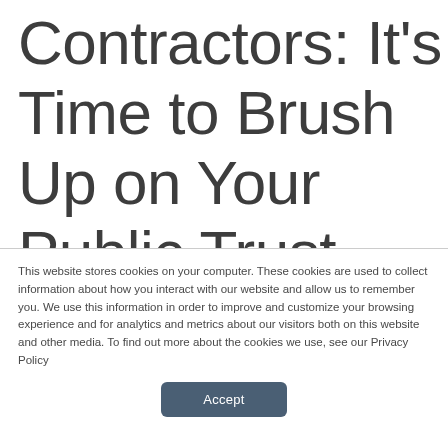Contractors: It's Time to Brush Up on Your Public Trust and Suitability...
This website stores cookies on your computer. These cookies are used to collect information about how you interact with our website and allow us to remember you. We use this information in order to improve and customize your browsing experience and for analytics and metrics about our visitors both on this website and other media. To find out more about the cookies we use, see our Privacy Policy